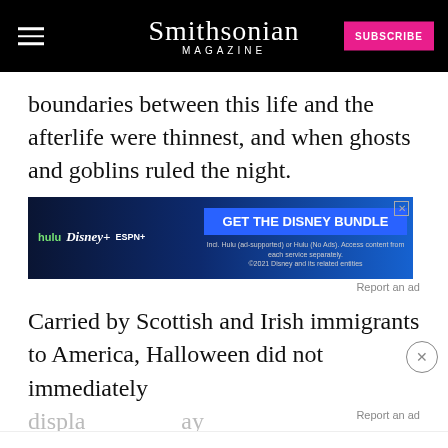Smithsonian MAGAZINE
boundaries between this life and the afterlife were thinnest, and when ghosts and goblins ruled the night.
[Figure (screenshot): Disney Bundle advertisement banner showing Hulu, Disney+, and ESPN+ logos with call-to-action 'GET THE DISNEY BUNDLE'. Fine print: Incl. Hulu (ad-supported) or Hulu (No Ads). Access content from each service separately. ©2021 Disney and its related entities]
Report an ad
Carried by Scottish and Irish immigrants to America, Halloween did not immediately
displa  ay
for gl  es it
was a  s
[Figure (screenshot): Inline advertisement showing cm logo with checklist: In-store shopping, Curbside pickup, Delivery, and a navigation arrow icon. Report an ad label visible. Play and close controls at bottom left.]